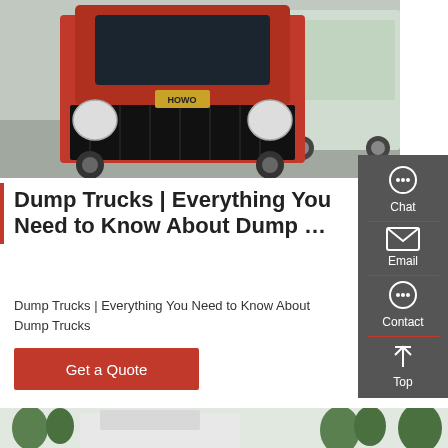[Figure (photo): Front view of a red HOWO dump truck in a vehicle yard, with other trucks visible in background]
Dump Trucks | Everything You Need to Know About Dump …
Dump Trucks | Everything You Need to Know About Dump Trucks
Get a Quote
[Figure (photo): Bottom partial view of trucks with trees in background]